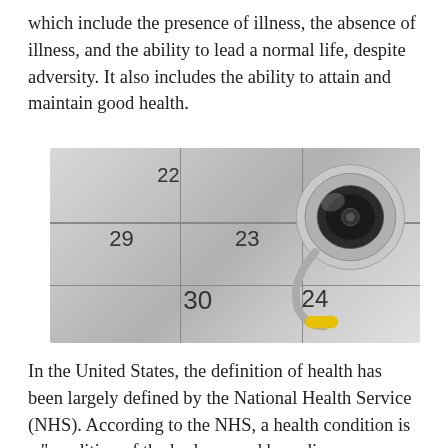which include the presence of illness, the absence of illness, and the ability to lead a normal life, despite adversity. It also includes the ability to attain and maintain good health.
[Figure (photo): A stethoscope resting on a calendar page showing dates 22, 23, 29, 30, suggesting medical appointments or scheduling.]
In the United States, the definition of health has been largely defined by the National Health Service (NHS). According to the NHS, a health condition is a "condition of the body caused by a disease or injury that affects the body's organs, tissues, cells, and the activities of the person". The condition may be partial or complete, with